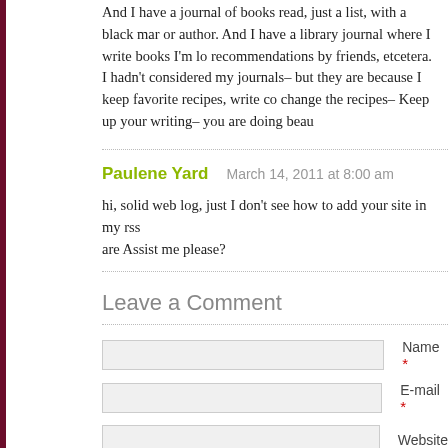And I have a journal of books read, just a list, with a black marker or author. And I have a library journal where I write books I'm looking for, recommendations by friends, etcetera. I hadn't considered my journals– but they are because I keep favorite recipes, write comments, change the recipes– Keep up your writing– you are doing beautifully
Paulene Yard   March 14, 2011 at 8:00 am
hi, solid web log, just I don't see how to add your site in my rss are Assist me please?
Leave a Comment
Name *
E-mail *
Website